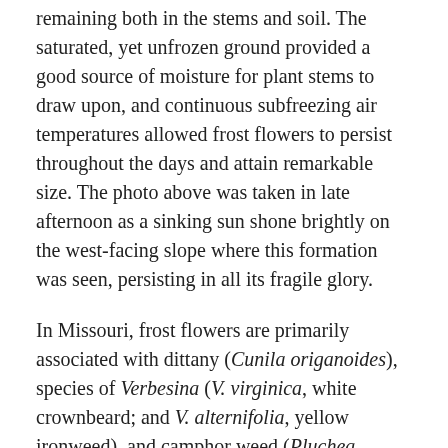remaining both in the stems and soil. The saturated, yet unfrozen ground provided a good source of moisture for plant stems to draw upon, and continuous subfreezing air temperatures allowed frost flowers to persist throughout the days and attain remarkable size. The photo above was taken in late afternoon as a sinking sun shone brightly on the west-facing slope where this formation was seen, persisting in all its fragile glory.
In Missouri, frost flowers are primarily associated with dittany (Cunila origanoides), species of Verbesina (V. virginica, white crownbeard; and V. alternifolia, yellow ironweed), and camphor weed (Pluchea camphorata). Frost flowers are rarely seen on any other plant in Missouri, and I don't know what it is about these plants and not others that make them suitable for frost flower formation. Dittany is a daintly little member of the